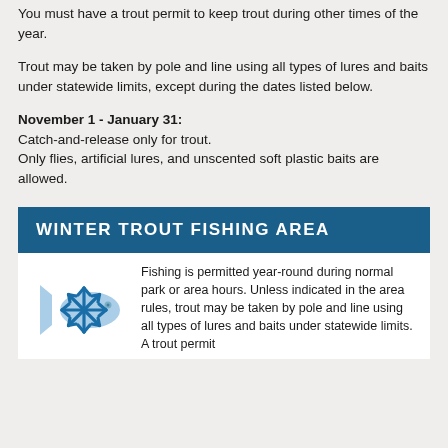You must have a trout permit to keep trout during other times of the year.
Trout may be taken by pole and line using all types of lures and baits under statewide limits, except during the dates listed below.
November 1 - January 31:
Catch-and-release only for trout.
Only flies, artificial lures, and unscented soft plastic baits are allowed.
WINTER TROUT FISHING AREA
[Figure (illustration): Icon of a fish with a snowflake overlay, in light blue and blue colors representing winter trout fishing.]
Fishing is permitted year-round during normal park or area hours. Unless indicated in the area rules, trout may be taken by pole and line using all types of lures and baits under statewide limits. A trout permit